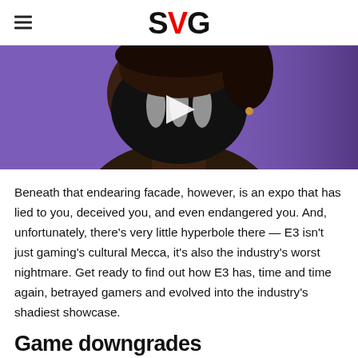SVG
[Figure (illustration): Stylized illustration of a character wearing a black mask on a purple background, with a video play button overlay]
Beneath that endearing facade, however, is an expo that has lied to you, deceived you, and even endangered you. And, unfortunately, there's very little hyperbole there — E3 isn't just gaming's cultural Mecca, it's also the industry's worst nightmare. Get ready to find out how E3 has, time and time again, betrayed gamers and evolved into the industry's shadiest showcase.
Game downgrades